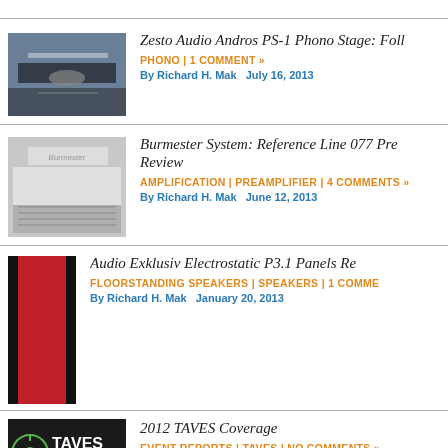[Figure (photo): Zesto Audio Andros PS-1 Phono Stage product photo]
Zesto Audio Andros PS-1 Phono Stage: Foll
PHONO | 1 COMMENT »
By Richard H. Mak   July 16, 2013
[Figure (photo): Burmester Reference Line 077 Pre product photo]
Burmester System: Reference Line 077 Pre Review
AMPLIFICATION | PREAMPLIFIER | 4 COMMENTS »
By Richard H. Mak   June 12, 2013
[Figure (photo): Audio Exklusiv Electrostatic P3.1 Panels product photo]
Audio Exklusiv Electrostatic P3.1 Panels Re
FLOORSTANDING SPEAKERS | SPEAKERS | 1 COMME
By Richard H. Mak   January 20, 2013
[Figure (logo): TAVES Toronto Audio Video Entertainment Show logo]
2012 TAVES Coverage
EVENT REPORTS | TAVES | NO COMMENTS »